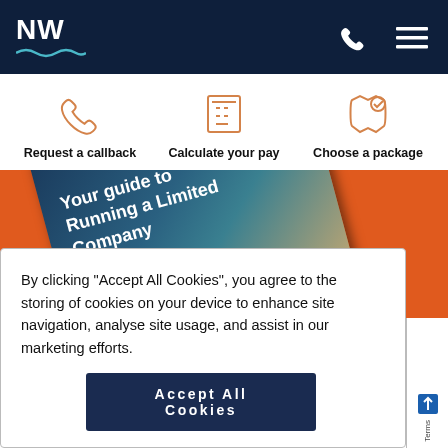NW
[Figure (infographic): Three icon links: phone icon (Request a callback), calculator icon (Calculate your pay), book/package icon (Choose a package)]
[Figure (photo): Book titled 'Your guide to Running a Limited Company' on an orange background]
By clicking "Accept All Cookies", you agree to the storing of cookies on your device to enhance site navigation, analyse site usage, and assist in our marketing efforts.
Accept All Cookies